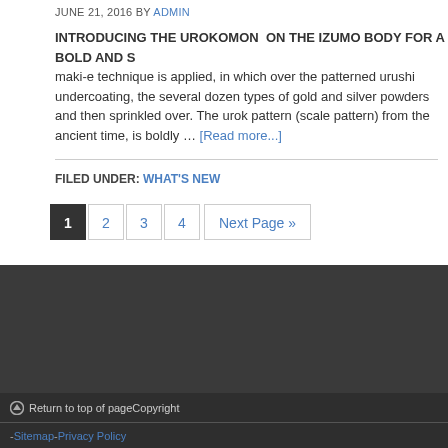JUNE 21, 2016 BY ADMIN
INTRODUCING THE UROKOMON ON THE IZUMO BODY FOR A BOLD AND S maki-e technique is applied, in which over the patterned urushi undercoating, the several dozen types of gold and silver powders and then sprinkled over. The urok pattern (scale pattern) from the ancient time, is boldly … [Read more...]
FILED UNDER: WHAT'S NEW
1 2 3 4 Next Page »
↑ Return to top of page   Copyright
- Sitemap - Privacy Policy